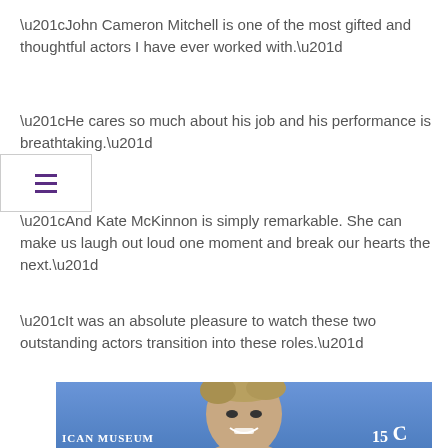“John Cameron Mitchell is one of the most gifted and thoughtful actors I have ever worked with.”
“He cares so much about his job and his performance is breathtaking.”
“And Kate McKinnon is simply remarkable. She can make us laugh out loud one moment and break our hearts the next.”
“It was an absolute pleasure to watch these two outstanding actors transition into these roles.”
[Figure (photo): Photo of a woman (Kate McKinnon) smiling, in front of a blue background with text 'ICAN MUSEUM' and '150' visible at the bottom]